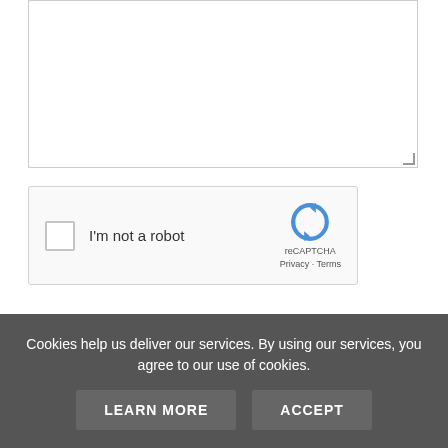[Figure (screenshot): Textarea input field with resize handle in bottom-right corner]
[Figure (screenshot): reCAPTCHA widget with checkbox labeled 'I'm not a robot' and reCAPTCHA logo with Privacy and Terms links]
[Figure (screenshot): Red 'SUBMIT REVIEW' button]
RELATED PRODUCTS
Cookies help us deliver our services. By using our services, you agree to our use of cookies.
[Figure (screenshot): Cookie consent bar with LEARN MORE and ACCEPT buttons]